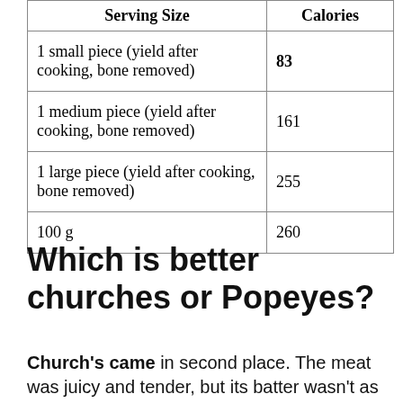| Serving Size | Calories |
| --- | --- |
| 1 small piece (yield after cooking, bone removed) | 83 |
| 1 medium piece (yield after cooking, bone removed) | 161 |
| 1 large piece (yield after cooking, bone removed) | 255 |
| 100 g | 260 |
Which is better churches or Popeyes?
Church's came in second place. The meat was juicy and tender, but its batter wasn't as flavorful as Popeyes, which came in first